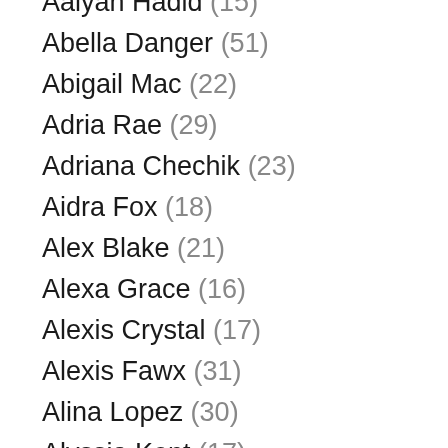Aalyan Hadid (15)
Abella Danger (51)
Abigail Mac (22)
Adria Rae (29)
Adriana Chechik (23)
Aidra Fox (18)
Alex Blake (21)
Alexa Grace (16)
Alexis Crystal (17)
Alexis Fawx (31)
Alina Lopez (30)
Alyssia Kent (17)
Amirah Adara (26)
Anastasia Knight (16)
Angel Wicky (14)
Angela White (36)
Anna Bell Peaks (14)